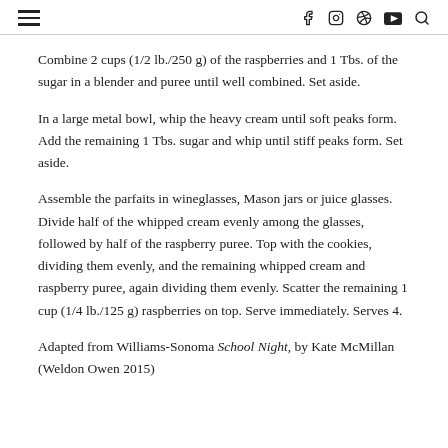≡  f  instagram  pinterest  youtube  search
Combine 2 cups (1/2 lb./250 g) of the raspberries and 1 Tbs. of the sugar in a blender and puree until well combined. Set aside.
In a large metal bowl, whip the heavy cream until soft peaks form. Add the remaining 1 Tbs. sugar and whip until stiff peaks form. Set aside.
Assemble the parfaits in wineglasses, Mason jars or juice glasses. Divide half of the whipped cream evenly among the glasses, followed by half of the raspberry puree. Top with the cookies, dividing them evenly, and the remaining whipped cream and raspberry puree, again dividing them evenly. Scatter the remaining 1 cup (1/4 lb./125 g) raspberries on top. Serve immediately. Serves 4.
Adapted from Williams-Sonoma School Night, by Kate McMillan (Weldon Owen 2015)